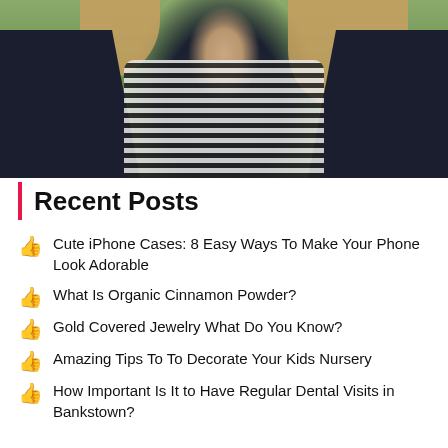[Figure (photo): Photo of a woman with wavy blonde hair wearing a striped shirt and dark navy jacket, outdoors with green background]
Recent Posts
Cute iPhone Cases: 8 Easy Ways To Make Your Phone Look Adorable
What Is Organic Cinnamon Powder?
Gold Covered Jewelry What Do You Know?
Amazing Tips To To Decorate Your Kids Nursery
How Important Is It to Have Regular Dental Visits in Bankstown?